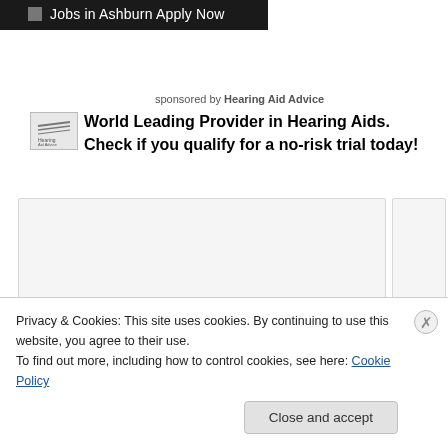[Figure (other): Dark banner advertisement with text 'Jobs in Ashburn Apply Now']
sponsored by Hearing Aid Advice
[Figure (logo): Hearing Aid Advice logo - small graphic with stylized lines and text]
World Leading Provider in Hearing Aids. Check if you qualify for a no-risk trial today!
[Figure (other): Two content card placeholders side by side, light gray background with border]
Privacy & Cookies: This site uses cookies. By continuing to use this website, you agree to their use.
To find out more, including how to control cookies, see here: Cookie Policy
Close and accept